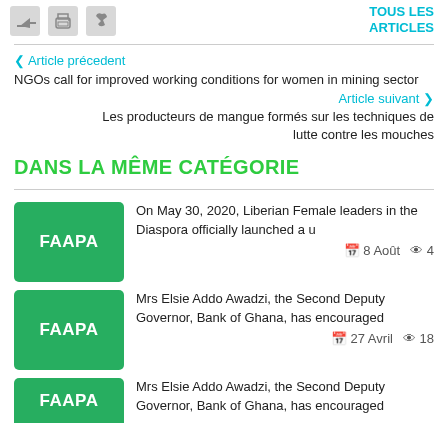TOUS LES ARTICLES
< Article précedent
NGOs call for improved working conditions for women in mining sector
Article suivant >
Les producteurs de mangue formés sur les techniques de lutte contre les mouches
DANS LA MÊME CATÉGORIE
On May 30, 2020, Liberian Female leaders in the Diaspora officially launched a u
8 Août  4
Mrs Elsie Addo Awadzi, the Second Deputy Governor, Bank of Ghana, has encouraged
27 Avril  18
Mrs Elsie Addo Awadzi, the Second Deputy Governor, Bank of Ghana, has encouraged